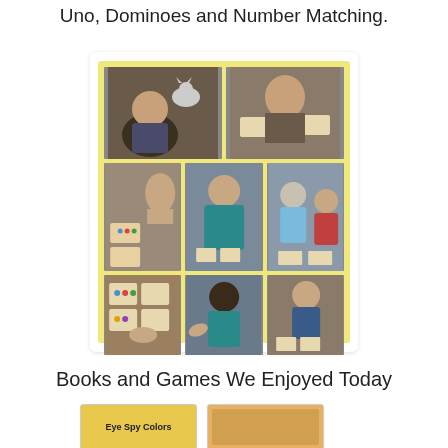Uno, Dominoes and Number Matching.
[Figure (photo): A collage of photographs showing children playing number matching games and dominoes on the floor, with cards spread out.]
Books and Games We Enjoyed Today
[Figure (photo): Book cover: Eye Spy Colors]
[Figure (photo): Book or game cover (partially visible, orange/yellow)]